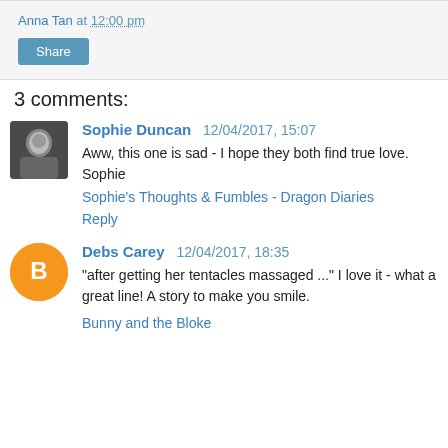Anna Tan at 12:00 pm
Share
3 comments:
Sophie Duncan 12/04/2017, 15:07
Aww, this one is sad - I hope they both find true love.
Sophie
Sophie's Thoughts & Fumbles - Dragon Diaries
Reply
Debs Carey 12/04/2017, 18:35
"after getting her tentacles massaged ..." I love it - what a great line! A story to make you smile.
Bunny and the Bloke